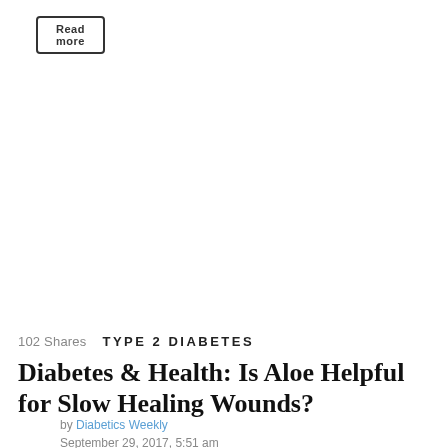Read more
102 Shares   TYPE 2 DIABETES
Diabetes & Health: Is Aloe Helpful for Slow Healing Wounds?
by Diabetics Weekly
September 29, 2017, 5:51 am